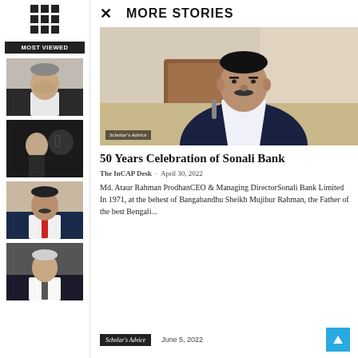MOST VIEWED
[Figure (photo): Thumbnail photo 1 - businessman in dark jacket]
[Figure (photo): Thumbnail photo 2 - Steve Jobs with Apple logo]
[Figure (photo): Thumbnail photo 3 - man in suit with red tie]
[Figure (photo): Thumbnail photo 4 - elderly man in dark suit]
MORE STORIES
[Figure (photo): Article photo: Md. Ataur Rahman Prodhan, CEO & Managing Director of Sonali Bank, seated at desk. Watermark: Scholar's Advice]
50 Years Celebration of Sonali Bank
The InCAP Desk  -  April 30, 2022
Md. Ataur Rahman ProdhanCEO & Managing DirectorSonali Bank Limited In 1971, at the behest of Bangabandhu Sheikh Mujibur Rahman, the Father of the best Bengali...
Scholar's Advice   June 5, 2022